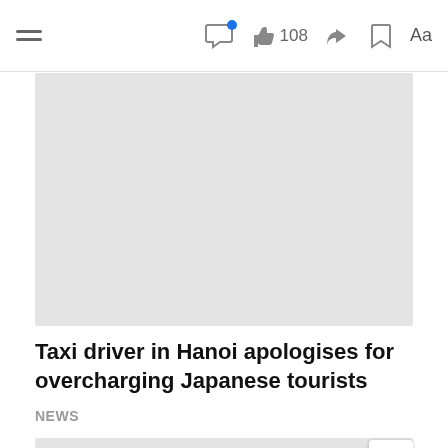Toolbar with hamburger menu, comment icon with notification dot, like button showing 108, share icon, bookmark icon, Aa font settings
[Figure (photo): Large image placeholder (light gray rectangle) at top of article]
Taxi driver in Hanoi apologises for overcharging Japanese tourists
NEWS
[Figure (photo): Partial image placeholder (light gray rectangle) at bottom of page with scroll-to-top button]